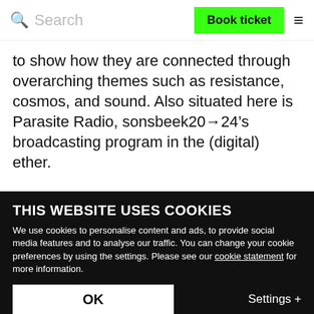Search | Book ticket | ≡
to show how they are connected through overarching themes such as resistance, cosmos, and sound. Also situated here is Parasite Radio, sonsbeek20→24's broadcasting program in the (digital) ether.
On July 3rd, you can join the sonsbeek20→ 24 curators to dig deeper into Abstracting Parables. Find us in the contextualisation room, inside the exhibitions Abstracting Parables from 11.00 on 3rd
THIS WEBSITE USES COOKIES
We use cookies to personalise content and ads, to provide social media features and to analyse our traffic. You can change your cookie preferences by using the settings. Please see our cookie statement for more information.
OK
Settings +